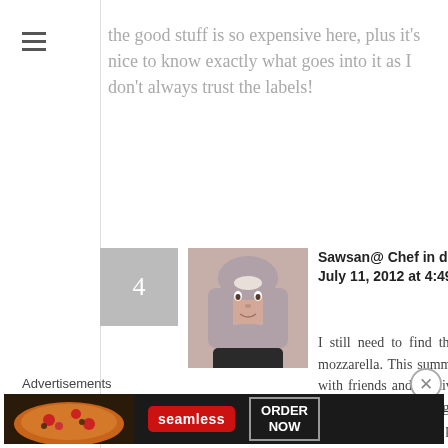the good stuff is so expensive here, plus it’s nice to know exactly what goes into it as I don’t always trust the labels!
Sawsan@ Chef in disguise on July 11, 2012 at 4:49 PM  Like
I still need to find the time to make mozzarella. This summer is super busy with friends and relatives. I agree with you on never trusting the labels you never know what they put in there
[Figure (photo): Profile photo of Sawsan, a woman wearing a hijab]
Advertisements
[Figure (screenshot): Seamless advertisement banner with pizza image, Seamless logo, and ORDER NOW button]